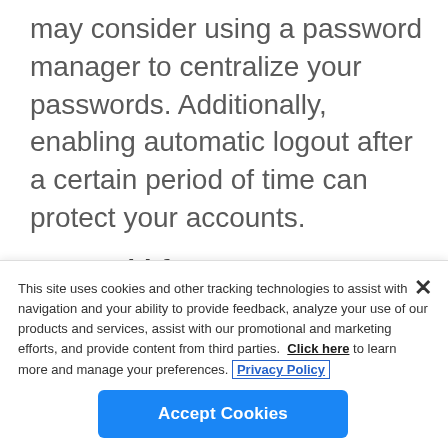may consider using a password manager to centralize your passwords. Additionally, enabling automatic logout after a certain period of time can protect your accounts.
Use multi-factor authentication
This site uses cookies and other tracking technologies to assist with navigation and your ability to provide feedback, analyze your use of our products and services, assist with our promotional and marketing efforts, and provide content from third parties. Click here to learn more and manage your preferences. Privacy Policy
Accept Cookies